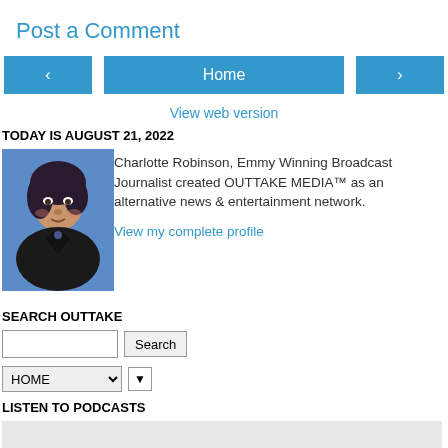Post a Comment
< Home >
View web version
TODAY IS AUGUST 21, 2022
[Figure (photo): Profile photo of Charlotte Robinson, a woman with dark hair wearing a black jacket]
Charlotte Robinson, Emmy Winning Broadcast Journalist created OUTTAKE MEDIA™ as an alternative news & entertainment network.

View my complete profile
SEARCH OUTTAKE
Search
HOME ▼
LISTEN TO PODCASTS